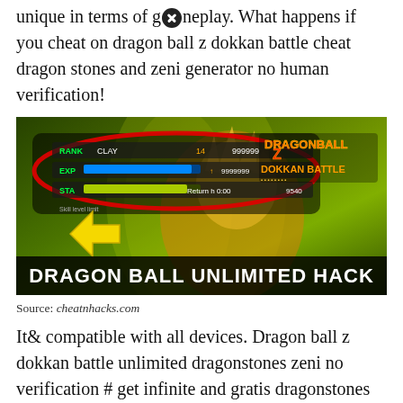unique in terms of g⊗neplay. What happens if you cheat on dragon ball z dokkan battle cheat dragon stones and zeni generator no human verification!
[Figure (screenshot): Screenshot of Dragon Ball Z Dokkan Battle game showing hack stats with red oval highlight and yellow arrow, with 'DRAGON BALL UNLIMITED HACK' text overlay]
Source: cheatnhacks.com
It& compatible with all devices. Dragon ball z dokkan battle unlimited dragonstones zeni no verification # get infinite and gratis dragonstones zeni ## dragon ball z dokkan battle hack generator dragonstones zeni g⊗nerator no human